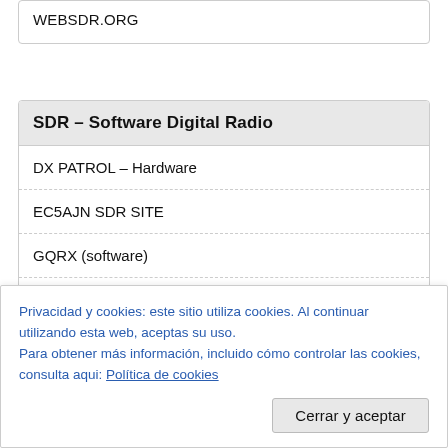WEBSDR.ORG
SDR – Software Digital Radio
DX PATROL – Hardware
EC5AJN SDR SITE
GQRX (software)
Receptor SDR – Remote
RTL-SDR.COM
Privacidad y cookies: este sitio utiliza cookies. Al continuar utilizando esta web, aceptas su uso.
Para obtener más información, incluido cómo controlar las cookies, consulta aqui: Política de cookies
Cerrar y aceptar